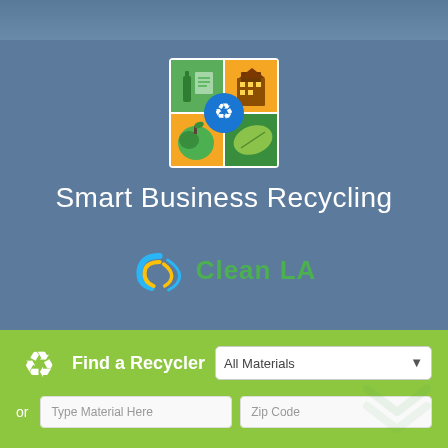[Figure (logo): Smart Business Recycling app icon with four quadrants: green bottle and paper (top-left), orange with building (top-right), blue recycling symbol in center, green apple (bottom-left), orange leaf (bottom-right)]
Smart Business Recycling
[Figure (logo): Clean LA logo with blue and yellow curved shapes and green text reading 'Clean LA']
Find a Recycler
All Materials
or
Type Material Here
Zip Code